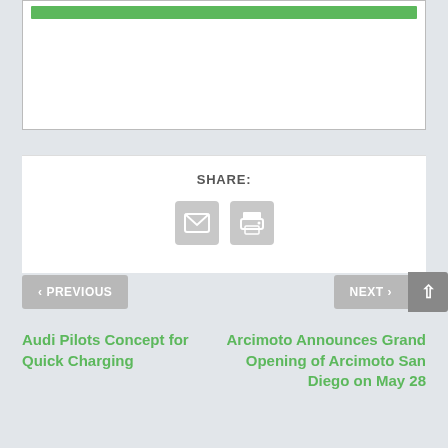[Figure (screenshot): White card with a green progress bar near the top, partially cropped]
SHARE:
[Figure (infographic): Two gray rounded square buttons: email icon and print icon]
< PREVIOUS
NEXT >
Audi Pilots Concept for Quick Charging
Arcimoto Announces Grand Opening of Arcimoto San Diego on May 28